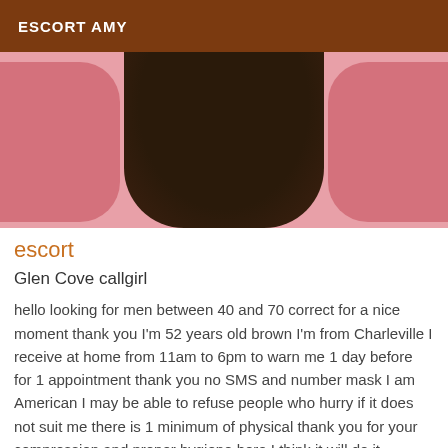ESCORT AMY
[Figure (photo): A photo showing the torso of a person against a pink background, with dark skin visible in the center framed by pink areas on either side.]
escort
Glen Cove callgirl
hello looking for men between 40 and 70 correct for a nice moment thank you I'm 52 years old brown I'm from Charleville I receive at home from 11am to 6pm to warn me 1 day before for 1 appointment thank you no SMS and number mask I am American I may be able to refuse people who hurry if it does not suit me there is 1 minimum of physical thank you for your compression and proper hygiene here I think it will do it